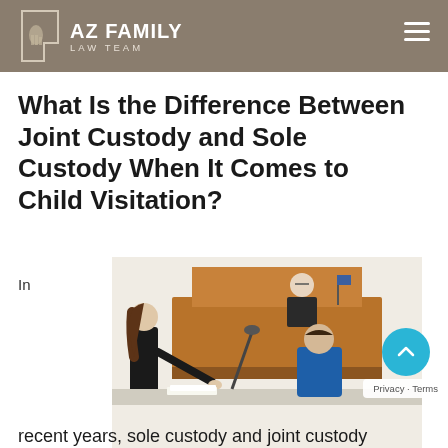AZ FAMILY LAW TEAM
What Is the Difference Between Joint Custody and Sole Custody When It Comes to Child Visitation?
In
[Figure (photo): Courtroom scene with a woman leaning over a desk/table speaking to a judge at the bench, and a boy in a blue shirt seen from behind at a table with a microphone.]
recent years, sole custody and joint custody